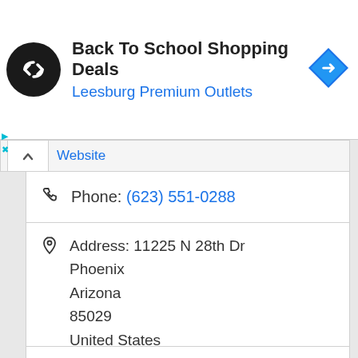[Figure (screenshot): Ad banner: Back To School Shopping Deals at Leesburg Premium Outlets with logo and navigation icon]
Website
Phone: (623) 551-0288
Address: 11225 N 28th Dr
Phoenix
Arizona
85029
United States
Acupuncture to alleviate pain, eliminate and prevent disease, and balance the emotions. Needles are strategically placed from head to foot in order to balance the
Read more